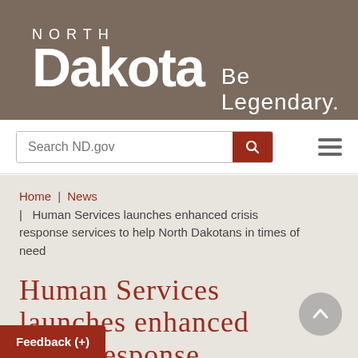[Figure (logo): North Dakota state government logo with text 'NORTH Dakota Be Legendary.' on a taupe/brown background]
Search ND.gov
Home | News | Human Services launches enhanced crisis response services to help North Dakotans in times of need
Human Services launches enhanced crisis response services to help North Dakotans in times of